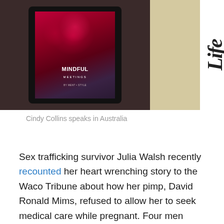[Figure (photo): A tablet device displaying a book cover for 'Mindful Meetings' with a red watercolor splash design, held against a dark background. To the right is a white banner partially visible with 'Life.org' text, set against a beige wall.]
Cindy Collins speaks in Australia
Sex trafficking survivor Julia Walsh recently recounted her heart wrenching story to the Waco Tribune about how her pimp, David Ronald Mims, refused to allow her to seek medical care while pregnant. Four men trafficked Walsh for almost three years, often keeping her in the trunk of a car until they found an abandoned apartment to traffic her from. Walsh eventually escaped and ended up on the